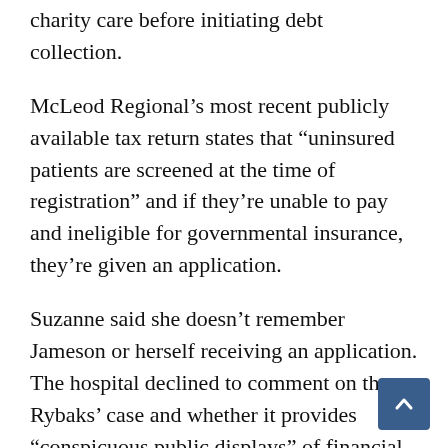charity care before initiating debt collection.
McLeod Regional's most recent publicly available tax return states that “uninsured patients are screened at the time of registration” and if they’re unable to pay and ineligible for governmental insurance, they’re given an application.
Suzanne said she doesn’t remember Jameson or herself receiving an application. The hospital declined to comment on the Rybaks’ case and whether it provides “conspicuous public displays” of financial assistance.